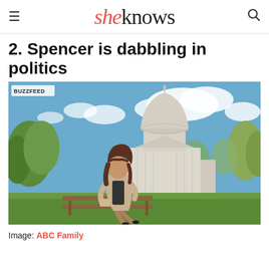sheknows
2. Spencer is dabbling in politics
[Figure (photo): A woman with long dark hair sits on a wooden bench outdoors in front of the US Capitol building. She is dressed in a beige coat and dark skirt, and appears to be reading something. Trees and green lawn are visible in the background under a partly cloudy blue sky. A BuzzFeed watermark appears in the upper left corner.]
Image: ABC Family